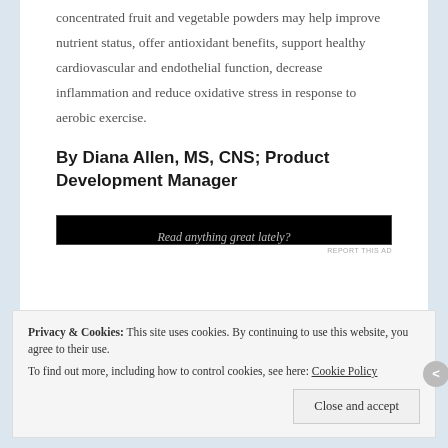concentrated fruit and vegetable powders may help improve nutrient status, offer antioxidant benefits, support healthy cardiovascular and endothelial function, decrease inflammation and reduce oxidative stress in response to aerobic exercise.
By Diana Allen, MS, CNS; Product Development Manager
[Figure (other): Black advertisement banner with text 'Read anything great lately?']
REPORT THIS AD
Privacy & Cookies: This site uses cookies. By continuing to use this website, you agree to their use.
To find out more, including how to control cookies, see here: Cookie Policy